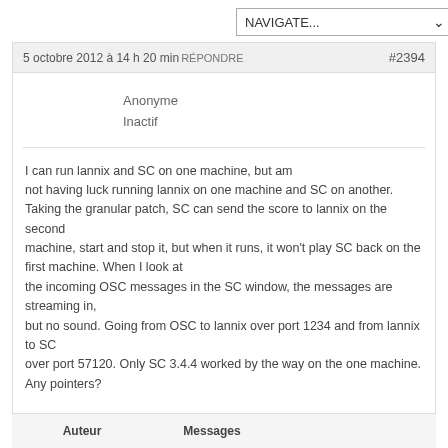NAVIGATE...
5 octobre 2012 à 14 h 20 min RÉPONDRE #2394
Anonyme
Inactif
I can run lannix and SC on one machine, but am not having luck running lannix on one machine and SC on another. Taking the granular patch, SC can send the score to lannix on the second machine, start and stop it, but when it runs, it won't play SC back on the first machine. When I look at the incoming OSC messages in the SC window, the messages are streaming in, but no sound. Going from OSC to lannix over port 1234 and from lannix to SC over port 57120. Only SC 3.4.4 worked by the way on the one machine. Any pointers?
Auteur    Messages